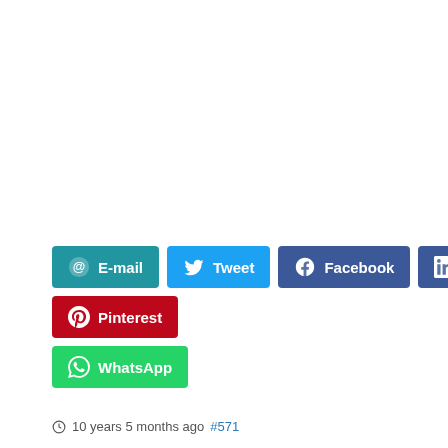[Figure (infographic): Social sharing buttons: E-mail (teal), Tweet (blue), Facebook (dark blue), LinkedIn (dark blue), Pinterest (red), WhatsApp (green)]
10 years 5 months ago #571